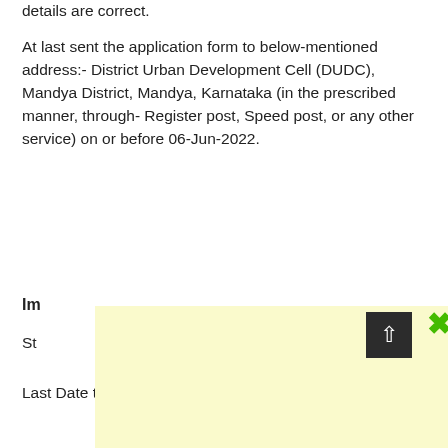details are correct.
At last sent the application form to below-mentioned address:- District Urban Development Cell (DUDC), Mandya District, Mandya, Karnataka (in the prescribed manner, through- Register post, Speed post, or any other service) on or before 06-Jun-2022.
Im
St
Last Date to Apply Offline: 06-Jun-2022